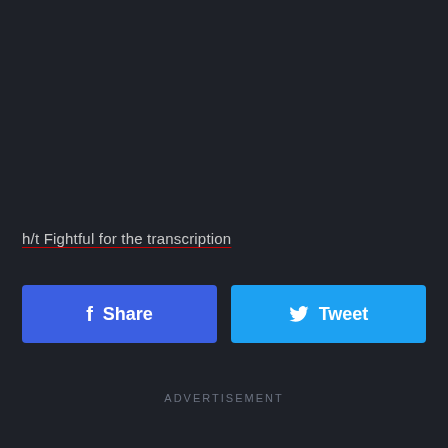h/t Fightful for the transcription
[Figure (other): Facebook Share button and Twitter Tweet button]
ADVERTISEMENT